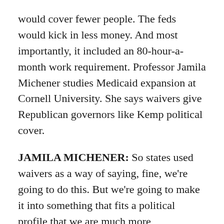would cover fewer people. The feds would kick in less money. And most importantly, it included an 80-hour-a-month work requirement. Professor Jamila Michener studies Medicaid expansion at Cornell University. She says waivers give Republican governors like Kemp political cover.
JAMILA MICHENER: So states used waivers as a way of saying, fine, we're going to do this. But we're going to make it into something that fits a political profile that we are much more comfortable with.
GRINGLAS: Kemp's plan never took effect. Last month, the Biden administration denied its final approval, saying reporting work can be a barrier for people and doesn't actually serve the purpose of Medicaid. Politicians scurried to shape the narrative. Democrats criticized Republicans for